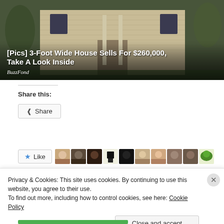[Figure (photo): Photo of a large two-story house with beige/cream siding, shutters, and a central entrance with columns, surrounded by trees.]
[Pics] 3-Foot Wide House Sells For $260,000, Take A Look Inside
BuzzFond
Share this:
Share
Like
Privacy & Cookies: This site uses cookies. By continuing to use this website, you agree to their use.
To find out more, including how to control cookies, see here: Cookie Policy
Close and accept